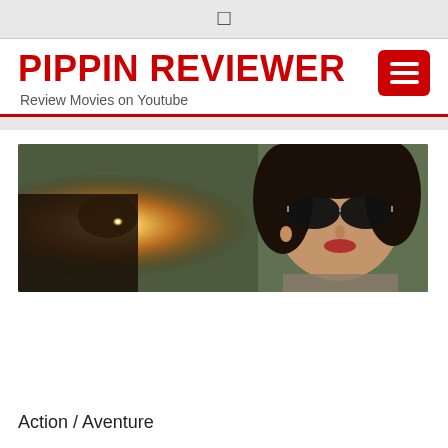☰
PIPPIN REVIEWER
Review Movies on Youtube
[Figure (photo): A woman with dark sunglasses holding a bright lantern, cinematic movie still]
Action / Aventure